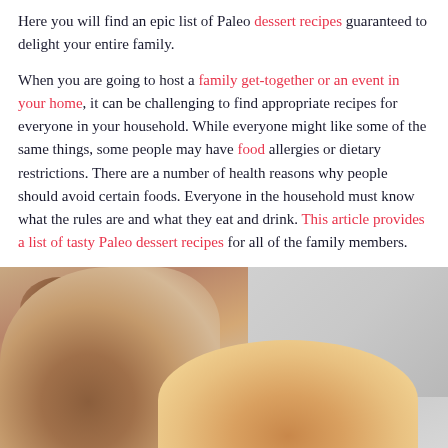Here you will find an epic list of Paleo dessert recipes guaranteed to delight your entire family.
When you are going to host a family get-together or an event in your home, it can be challenging to find appropriate recipes for everyone in your household. While everyone might like some of the same things, some people may have food allergies or dietary restrictions. There are a number of health reasons why people should avoid certain foods. Everyone in the household must know what the rules are and what they eat and drink. This article provides a list of tasty Paleo dessert recipes for all of the family members.
[Figure (photo): Close-up blurred photo of Paleo dessert pastries/donuts on a light gray background]